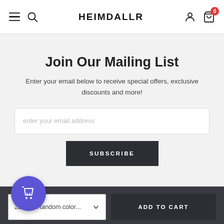HEIMDALLR
Join Our Mailing List
Enter your email below to receive special offers, exclusive discounts and more!
enter your email address
SUBSCRIBE
SHO
22mm / Random color...
ADD TO CART